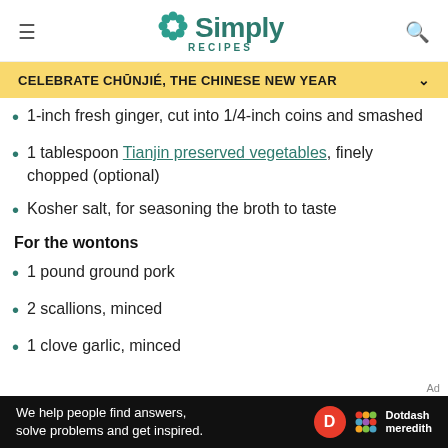Simply Recipes
CELEBRATE CHŪNJIÉ, THE CHINESE NEW YEAR
1-inch fresh ginger, cut into 1/4-inch coins and smashed
1 tablespoon Tianjin preserved vegetables, finely chopped (optional)
Kosher salt, for seasoning the broth to taste
For the wontons
1 pound ground pork
2 scallions, minced
1 clove garlic, minced
Ad — We help people find answers, solve problems and get inspired. Dotdash meredith